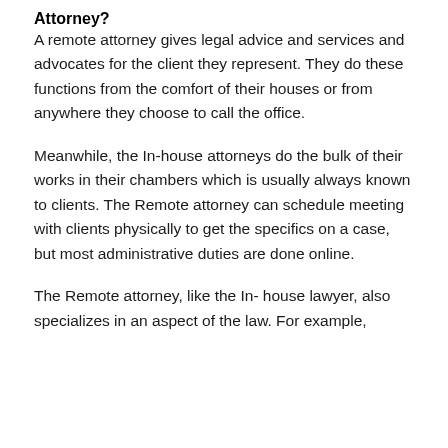Attorney?
A remote attorney gives legal advice and services and advocates for the client they represent. They do these functions from the comfort of their houses or from anywhere they choose to call the office.
Meanwhile, the In-house attorneys do the bulk of their works in their chambers which is usually always known to clients. The Remote attorney can schedule meeting with clients physically to get the specifics on a case, but most administrative duties are done online.
The Remote attorney, like the In- house lawyer, also specializes in an aspect of the law. For example,